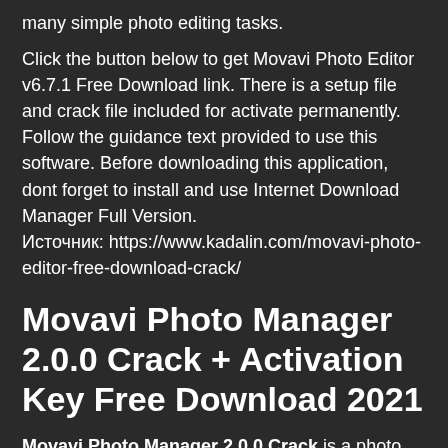many simple photo editing tasks.
Click the button below to get Movavi Photo Editor v6.7.1 Free Download link. There is a setup file and crack file included for activate permanently. Follow the guidance text provided to use this software. Before downloading this application, dont forget to install and use Internet Download Manager Full Version.
Источник: https://www.kadalin.com/movavi-photo-editor-free-download-crack/
Movavi Photo Manager 2.0.0 Crack + Activation Key Free Download 2021
Movavi Photo Manager 2.0.0 Crack is a photo assistant that helps...